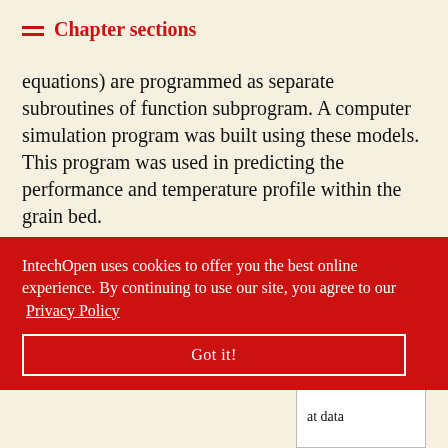Chapter sections
equations) are programmed as separate subroutines of function subprogram. A computer simulation program was built using these models. This program was used in predicting the performance and temperature profile within the grain bed.
Table 1 listed input data and output data which was simulated by a simulation program. The flow chart of the simulation program is shown in Figure 3. For the convenience, the interface graphical user
IntechOpen uses cookies to offer you the best online experience. By continuing to use our site, you agree to our Privacy Policy
Got it!
| at data |
| --- |